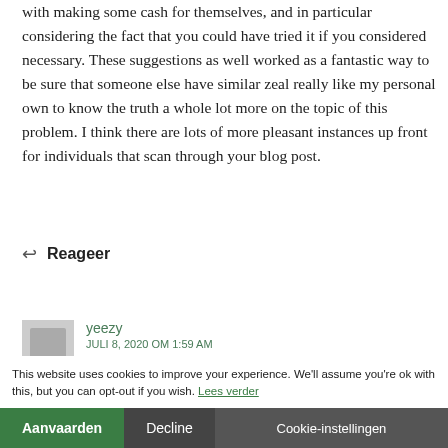with making some cash for themselves, and in particular considering the fact that you could have tried it if you considered necessary. These suggestions as well worked as a fantastic way to be sure that someone else have similar zeal really like my personal own to know the truth a whole lot more on the topic of this problem. I think there are lots of more pleasant instances up front for individuals that scan through your blog post.
↩ Reageer
yeezy
JULI 8, 2020 OM 1:59 AM
my admiration heartedness in support of persons who require help on this particular theme. Your personal
This website uses cookies to improve your experience. We'll assume you're ok with this, but you can opt-out if you wish. Lees verder
Aanvaarden Decline Cookie-instellingen